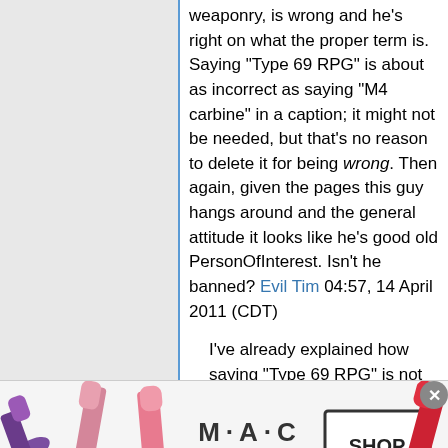weaponry, is wrong and he's right on what the proper term is. Saying "Type 69 RPG" is about as incorrect as saying "M4 carbine" in a caption; it might not be needed, but that's no reason to delete it for being wrong. Then again, given the pages this guy hangs around and the general attitude it looks like he's good old PersonOfInterest. Isn't he banned? Evil Tim 04:57, 14 April 2011 (CDT)
I've already explained how saying "Type 69 RPG" is not the same as saying "M4 carbine". If Evil Tim just wants to disregard any and all points I make, then I'll just have to go over his head. Yes, I'll wait for official moderator/admin approval. MT2008 is already leaning towards my
[Figure (photo): MAC cosmetics advertisement banner showing lipsticks in purple, pink, and red colors with MAC logo and 'SHOP NOW' button]